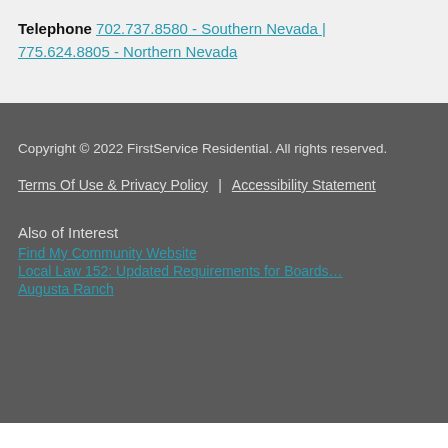Telephone 702.737.8580 - Southern Nevada | 775.624.8805 - Northern Nevada
Copyright © 2022 FirstService Residential. All rights reserved.
Terms Of Use & Privacy Policy  |  Accessibility Statement
Also of Interest
Find My Community Website
Local Law 152: Updated Requirements for Boards…
Augusta Ranch